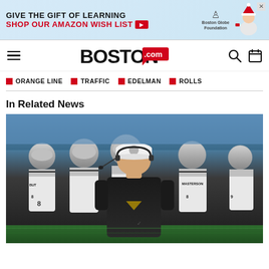[Figure (illustration): Advertisement banner: GIVE THE GIFT OF LEARNING / SHOP OUR AMAZON WISH LIST with Boston Globe Foundation logo and illustrated figure]
BOSTON.com
ORANGE LINE
TRAFFIC
EDELMAN
ROLLS
In Related News
[Figure (photo): NFL Raiders head coach with headset and white cap standing in front of players in silver helmets and white jerseys on the sideline. Player jersey reads BUTTS #8, MASTERSON visible in background.]